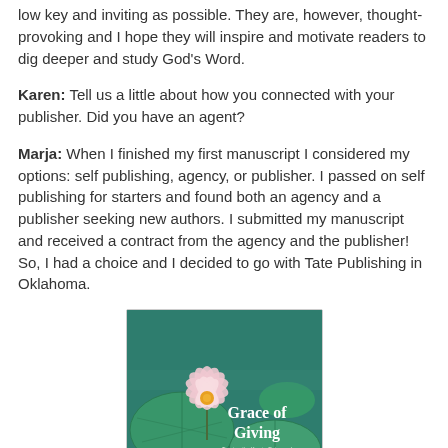low key and inviting as possible. They are, however, thought-provoking and I hope they will inspire and motivate readers to dig deeper and study God's Word.
Karen: Tell us a little about how you connected with your publisher. Did you have an agent?
Marja: When I finished my first manuscript I considered my options: self publishing, agency, or publisher. I passed on self publishing for starters and found both an agency and a publisher seeking new authors. I submitted my manuscript and received a contract from the agency and the publisher! So, I had a choice and I decided to go with Tate Publishing in Oklahoma.
[Figure (illustration): Book cover for 'Grace of Giving' showing a pink lotus flower on lily pads with teal/green water background. Subtitle text reads 'Turning the Key to Enter and Experience Fulness of Life'.]